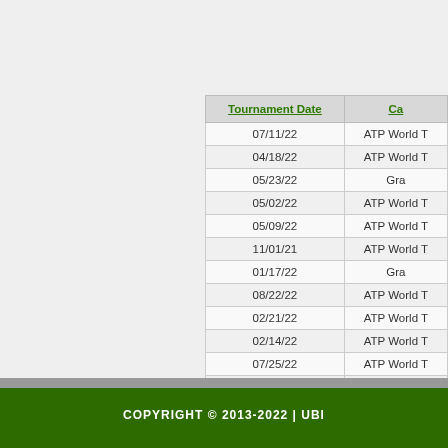| Tournament Date | Ca... |
| --- | --- |
| 07/11/22 | ATP World T... |
| 04/18/22 | ATP World T... |
| 05/23/22 | Gra... |
| 05/02/22 | ATP World T... |
| 05/09/22 | ATP World T... |
| 11/01/21 | ATP World T... |
| 01/17/22 | Gra... |
| 08/22/22 | ATP World T... |
| 02/21/22 | ATP World T... |
| 02/14/22 | ATP World T... |
| 07/25/22 | ATP World T... |
| 01/03/22 | ATP World T... |
COPYRIGHT © 2013-2022 | UBI...